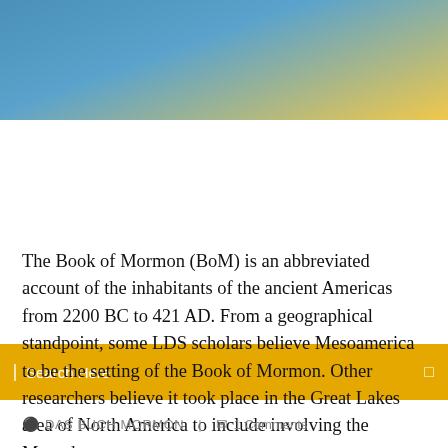[Figure (photo): Blue sky and golden/yellow gradient header image banner]
Search Here
The Book of Mormon (BoM) is an abbreviated account of the inhabitants of the ancient Americas from 2200 BC to 421 AD. From a geographical standpoint, some LDS scholars believe Mesoamerica to be the setting of the Book of Mormon. Other researchers believe it took place in the Great Lakes area of North America to include involving the Mound
DAS BUCH MORMON  |  1 Comments